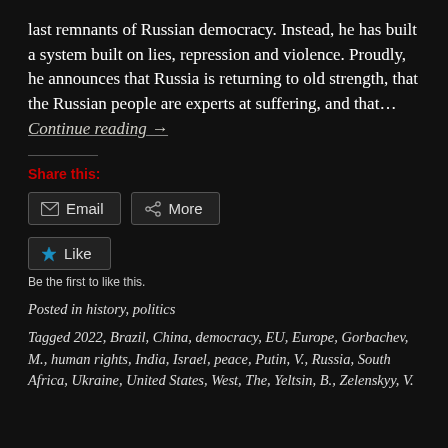last remnants of Russian democracy. Instead, he has built a system built on lies, repression and violence. Proudly, he announces that Russia is returning to old strength, that the Russian people are experts at suffering, and that… Continue reading →
Share this:
[Figure (other): Email and More share buttons]
[Figure (other): Like button with 'Be the first to like this.' text]
Posted in history, politics
Tagged 2022, Brazil, China, democracy, EU, Europe, Gorbachev, M., human rights, India, Israel, peace, Putin, V., Russia, South Africa, Ukraine, United States, West, The, Yeltsin, B., Zelenskyy, V.